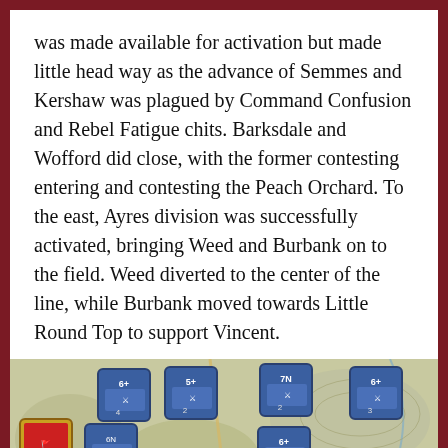was made available for activation but made little head way as the advance of Semmes and Kershaw was plagued by Command Confusion and Rebel Fatigue chits. Barksdale and Wofford did close, with the former contesting entering and contesting the Peach Orchard. To the east, Ayres division was successfully activated, bringing Weed and Burbank on to the field. Weed diverted to the center of the line, while Burbank moved towards Little Round Top to support Vincent.
[Figure (photo): A board game photo showing blue military unit counters on a topographic game map depicting a Civil War battle scenario, with various unit tiles visible including infantry markers on a terrain map with roads and elevation markings.]